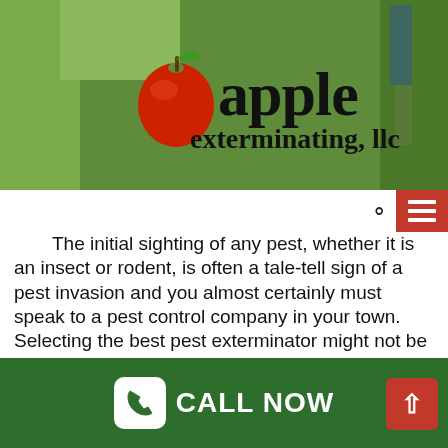[Figure (photo): Apple Exterminating LLC logo on a green outdoor/grass background. Red apple icon with green leaf next to bold text reading 'apple exterminating, llc'. A person's legs visible in background on lawn.]
The initial sighting of any pest, whether it is an insect or rodent, is often a tale-tell sign of a pest invasion and you almost certainly must speak to a pest control company in your town. Selecting the best pest exterminator might not be a straightforward affair since you may think, especially while you are expecting quality services which provide long term results. To ensure that you buy your money's worth by receiving superior service, you need to review a number of issues prior to hire the exterminator.
1. Know The Enemy
A pest infestation may be one where you are dealing one…
CALL NOW